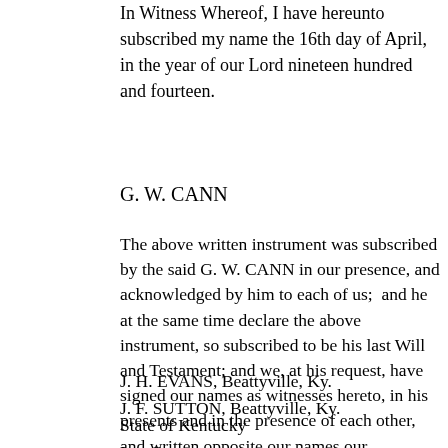In Witness Whereof, I have hereunto subscribed my name the 16th day of April, in the year of our Lord nineteen hundred and fourteen.
G. W. CANN
The above written instrument was subscribed by the said G. W. CANN in our presence, and acknowledged by him to each of us;  and he at the same time declare the above instrument, so subscribed to be his last Will and Testament; and we, at his request, have signed our names as witnesses hereto, in his presents and in the presence of each other, and written opposite our names our respective places of Residence.
J. H. EVANS, Beattyville, Ky.
J. F. SUTTON, Beattyville, Ky.
State of Kentucky
Lee County
I.R. C. PORTER, Clerk of the Lee County